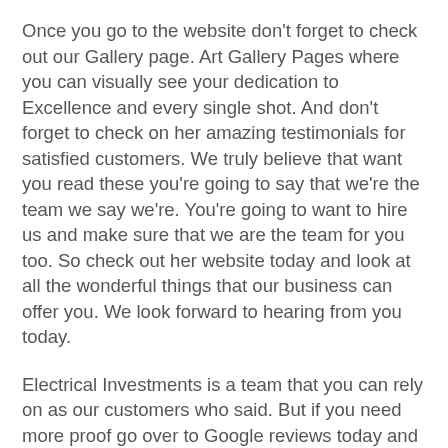Once you go to the website don't forget to check out our Gallery page. Art Gallery Pages where you can visually see your dedication to Excellence and every single shot. And don't forget to check on her amazing testimonials for satisfied customers. We truly believe that want you read these you're going to say that we're the team we say we're. You're going to want to hire us and make sure that we are the team for you too. So check out her website today and look at all the wonderful things that our business can offer you. We look forward to hearing from you today.
Electrical Investments is a team that you can rely on as our customers who said. But if you need more proof go over to Google reviews today and check us out. You will see that we are a team that we say we are and that you should hire us today. We believe that once you give us a call you're going to want to refers to your friends and family. We are going to be her go